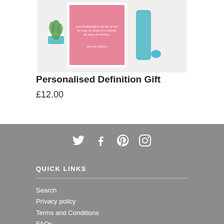[Figure (photo): Product photo of a framed pink personalised definition print with a cactus plant and teal/turquoise decorative items on a white surface]
Personalised Definition Gift
£12.00
[Figure (infographic): Social media icons for Twitter, Facebook, Pinterest, and Instagram displayed in white on grey background]
QUICK LINKS
Search
Privacy policy
Terms and Conditions
FAQs
Trade
Stockist